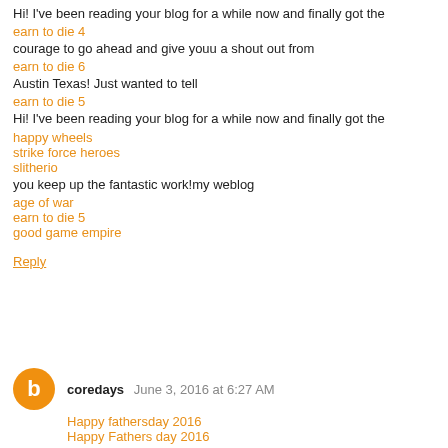Hi! I've been reading your blog for a while now and finally got the
earn to die 4
courage to go ahead and give youu a shout out from
earn to die 6
Austin Texas! Just wanted to tell
earn to die 5
Hi! I've been reading your blog for a while now and finally got the
happy wheels
strike force heroes
slitherio
you keep up the fantastic work!my weblog
age of war
earn to die 5
good game empire
Reply
coredays June 3, 2016 at 6:27 AM
Happy fathersday 2016
Happy Fathers day 2016